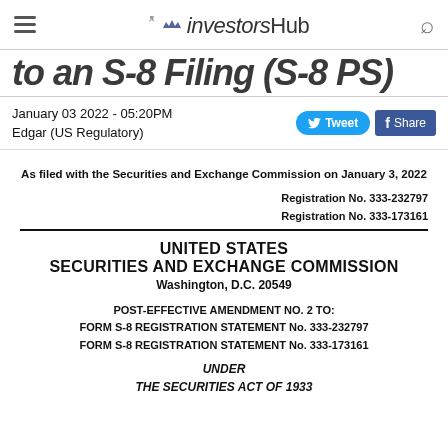investorsHub
to an S-8 Filing (S-8 PS)
January 03 2022 - 05:20PM
Edgar (US Regulatory)
As filed with the Securities and Exchange Commission on January 3, 2022
Registration No. 333-232797
Registration No. 333-173161
UNITED STATES SECURITIES AND EXCHANGE COMMISSION
Washington, D.C. 20549
POST-EFFECTIVE AMENDMENT NO. 2 TO:
FORM S-8 REGISTRATION STATEMENT No. 333-232797
FORM S-8 REGISTRATION STATEMENT No. 333-173161
UNDER
THE SECURITIES ACT OF 1933